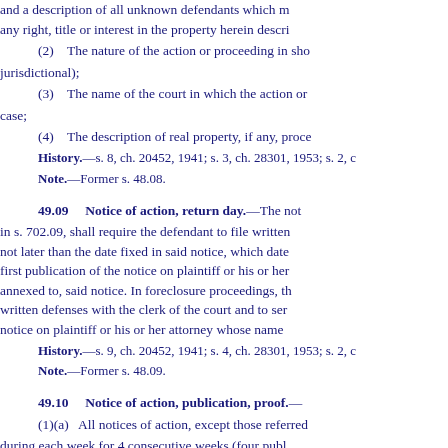and a description of all unknown defendants which m any right, title or interest in the property herein descri
(2) The nature of the action or proceeding in sho jurisdictional);
(3) The name of the court in which the action or case;
(4) The description of real property, if any, proce
History.—s. 8, ch. 20452, 1941; s. 3, ch. 28301, 1953; s. 2, c
Note.—Former s. 48.08.
49.09 Notice of action, return day.
The not in s. 702.09, shall require the defendant to file written not later than the date fixed in said notice, which date first publication of the notice on plaintiff or his or her annexed to, said notice. In foreclosure proceedings, th written defenses with the clerk of the court and to ser notice on plaintiff or his or her attorney whose name
History.—s. 9, ch. 20452, 1941; s. 4, ch. 28301, 1953; s. 2, c
Note.—Former s. 48.09.
49.10 Notice of action, publication, proof.
(1)(a) All notices of action, except those referred during each week for 4 consecutive weeks (four publ the county where the court is located. The newspaper